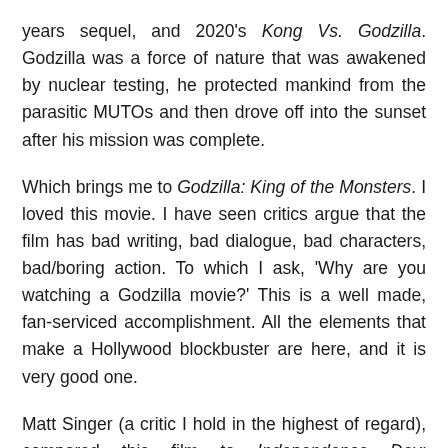years sequel, and 2020's Kong Vs. Godzilla. Godzilla was a force of nature that was awakened by nuclear testing, he protected mankind from the parasitic MUTOs and then drove off into the sunset after his mission was complete.
Which brings me to Godzilla: King of the Monsters. I loved this movie. I have seen critics argue that the film has bad writing, bad dialogue, bad characters, bad/boring action. To which I ask, 'Why are you watching a Godzilla movie?' This is a well made, fan-serviced accomplishment. All the elements that make a Hollywood blockbuster are here, and it is very good one.
Matt Singer (a critic I hold in the highest of regard), compared this film to Independence Day: Resurgence. Which is baffling. The action in that sequel was a boring CGI mash-up that tried too hard to service the fans of the first